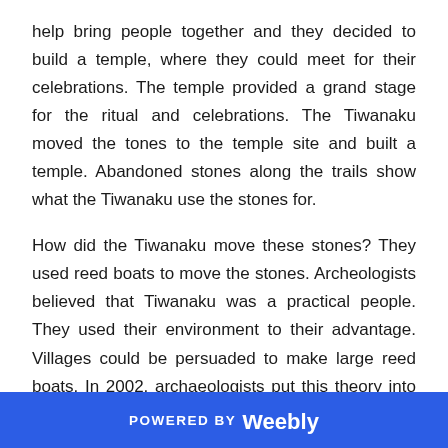help bring people together and they decided to build a temple, where they could meet for their celebrations.  The temple provided a grand stage for the ritual and celebrations.  The Tiwanaku moved the tones to the temple site and built a temple.  Abandoned stones along the trails show what the Tiwanaku use the stones for.
How did the Tiwanaku move these stones?  They used reed boats to move the stones.  Archeologists believed that Tiwanaku was a practical people.  They used their environment to their advantage.  Villages could be persuaded to make large reed boats.  In 2002, archaeologists put this theory into practice.  They had a village build a large boat, loaded it up with a large stone, and sailed it to the Tiwanaku site.  Villagers greeted them
POWERED BY weebly